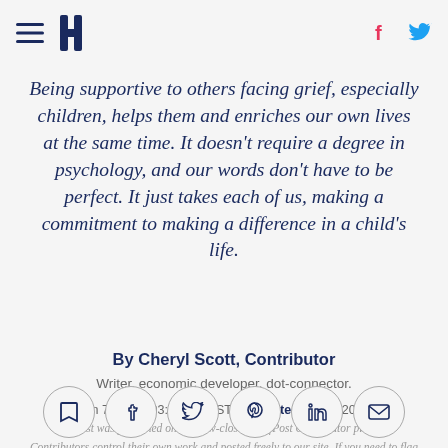[HuffPost navigation header with hamburger menu, logo, and social icons]
Being supportive to others facing grief, especially children, helps them and enriches our own lives at the same time. It doesn't require a degree in psychology, and our words don't have to be perfect. It just takes each of us, making a commitment to making a difference in a child's life.
By Cheryl Scott, Contributor
Writer, economic developer, dot-connector.
Jan 7, 2016, 03:35 PM EST | Updated Dec 6, 2017
This post was published on the now-closed HuffPost Contributor platform. Contributors control their own work and posted freely to our site. If you need to flag this entry as abusive, send us an email.
[Figure (other): Row of six circular social sharing buttons: bookmark, Facebook, Twitter, Pinterest, LinkedIn, email]